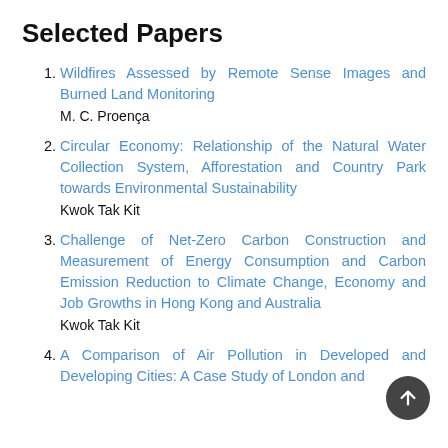Selected Papers
Wildfires Assessed by Remote Sense Images and Burned Land Monitoring
M. C. Proença
Circular Economy: Relationship of the Natural Water Collection System, Afforestation and Country Park towards Environmental Sustainability
Kwok Tak Kit
Challenge of Net-Zero Carbon Construction and Measurement of Energy Consumption and Carbon Emission Reduction to Climate Change, Economy and Job Growths in Hong Kong and Australia
Kwok Tak Kit
A Comparison of Air Pollution in Developed and Developing Cities: A Case Study of London and